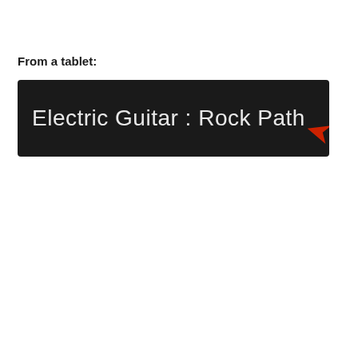From a tablet:
[Figure (screenshot): Dark-themed tablet UI screenshot showing 'Electric Guitar : Rock Path' text with a flame icon and a red arrow cursor in the upper right corner, on a near-black background.]